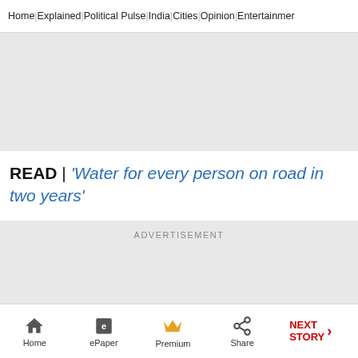Home | Explained | Political Pulse | India | Cities | Opinion | Entertainment
[Figure (other): Gray advertisement placeholder block]
READ | 'Water for every person on road in two years'
[Figure (other): Advertisement block with ADVERTISEMENT label]
Home | ePaper | Premium | Share | NEXT STORY